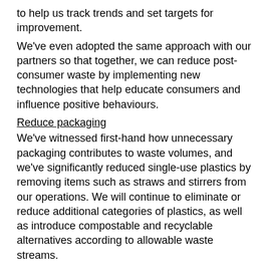to help us track trends and set targets for improvement.
We've even adopted the same approach with our partners so that together, we can reduce post-consumer waste by implementing new technologies that help educate consumers and influence positive behaviours.
Reduce packaging
We've witnessed first-hand how unnecessary packaging contributes to waste volumes, and we've significantly reduced single-use plastics by removing items such as straws and stirrers from our operations. We will continue to eliminate or reduce additional categories of plastics, as well as introduce compostable and recyclable alternatives according to allowable waste streams.
Learn more about what we're doing on campus.